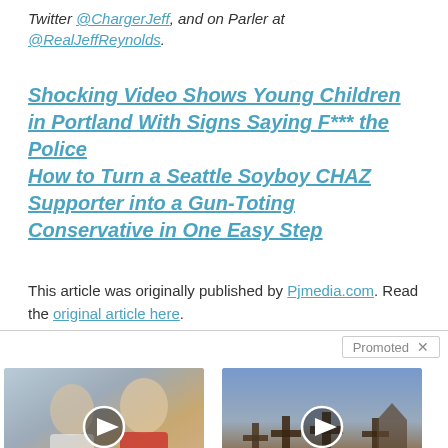Twitter @ChargerJeff, and on Parler at @RealJeffReynolds.
Shocking Video Shows Young Children in Portland With Signs Saying F*** the Police How to Turn a Seattle Soyboy CHAZ Supporter into a Gun-Toting Conservative in One Easy Step
This article was originally published by Pjmedia.com. Read the original article here.
[Figure (photo): Thumbnail of Melania and Donald Trump with a video play button overlay]
Top Democrats Fear This Video Getting Out — Watch Now Before It's Banned
🔥 315,748
[Figure (photo): Thumbnail of a graveyard with crosses and mountains in background with a video play button overlay]
Everyone Who Believes In God Should Watch This. It Will Blow Your Mind
🔥 2,863,110